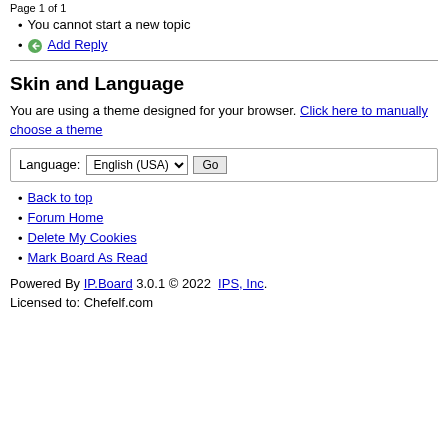Page 1 of 1
You cannot start a new topic
Add Reply
Skin and Language
You are using a theme designed for your browser. Click here to manually choose a theme
Back to top
Forum Home
Delete My Cookies
Mark Board As Read
Powered By IP.Board 3.0.1 © 2022  IPS, Inc. Licensed to: Chefelf.com